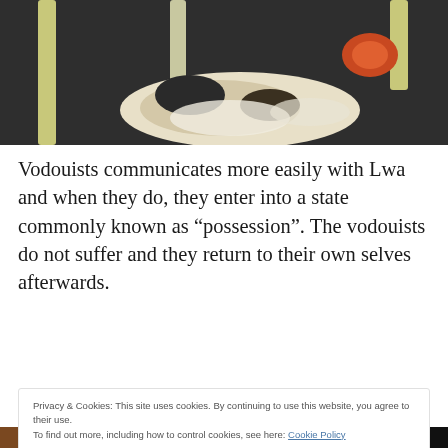[Figure (photo): Photograph of an animal (possibly a dog or cat) lying under chair legs on a dark floor, with an orange object visible]
Vodouists communicates more easily with Lwa and when they do, they enter into a state commonly known as “possession”. The vodouists do not suffer and they return to their own selves afterwards.
Privacy & Cookies: This site uses cookies. By continuing to use this website, you agree to their use.
To find out more, including how to control cookies, see here: Cookie Policy
Close and accept
[Figure (photo): Two partial photographs at the bottom of the page — left shows a person with colorful decoration, right shows a dark scene]